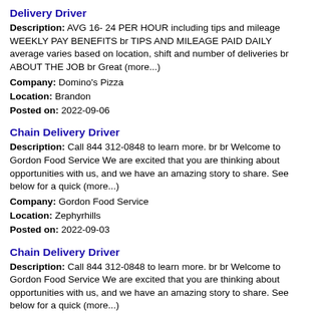Delivery Driver
Description: AVG 16- 24 PER HOUR including tips and mileage WEEKLY PAY BENEFITS br TIPS AND MILEAGE PAID DAILY average varies based on location, shift and number of deliveries br ABOUT THE JOB br Great (more...)
Company: Domino's Pizza
Location: Brandon
Posted on: 2022-09-06
Chain Delivery Driver
Description: Call 844 312-0848 to learn more. br br Welcome to Gordon Food Service We are excited that you are thinking about opportunities with us, and we have an amazing story to share. See below for a quick (more...)
Company: Gordon Food Service
Location: Zephyrhills
Posted on: 2022-09-03
Chain Delivery Driver
Description: Call 844 312-0848 to learn more. br br Welcome to Gordon Food Service We are excited that you are thinking about opportunities with us, and we have an amazing story to share. See below for a quick (more...)
Company: Gordon Food Service
Location: Zephyrhills
Posted on: 2022-09-04